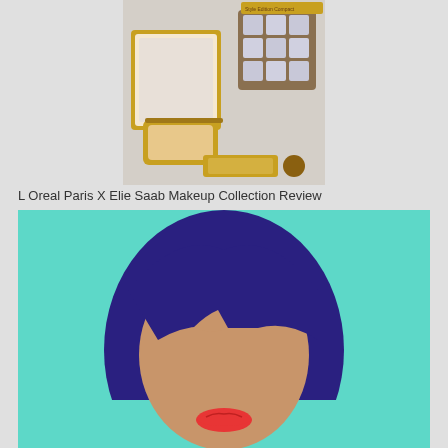[Figure (photo): Open gold compact makeup case with powder, alongside a jewel-encrusted gold case and other makeup items on a white background]
L Oreal Paris X Elie Saab Makeup Collection Review
[Figure (illustration): Illustrated graphic of a woman with dark blue hair and bangs, tan skin, and red lips on a teal/turquoise background]